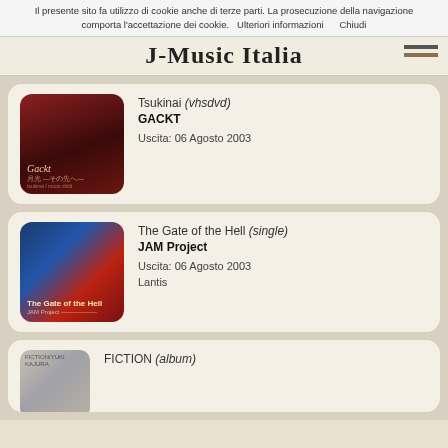Il presente sito fa utilizzo di cookie anche di terze parti. La prosecuzione della navigazione comporta l'accettazione dei cookie.   Ulteriori informazioni     Chiudi
J-Music Italia
Tsukinai (vhsdvd)
GACKT
Uscita: 06 Agosto 2003
The Gate of the Hell (single)
JAM Project
Uscita: 06 Agosto 2003
Lantis
FICTION (album)